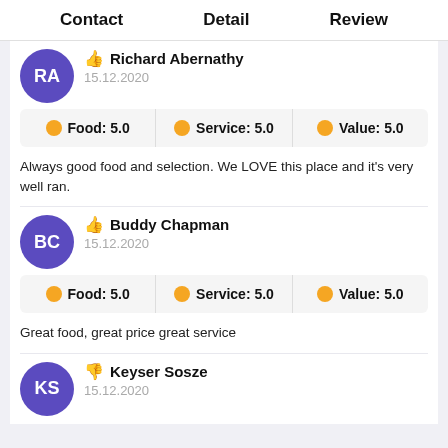Contact   Detail   Review
Richard Abernathy — 15.12.2020 — Food: 5.0 | Service: 5.0 | Value: 5.0
Always good food and selection. We LOVE this place and it's very well ran.
Buddy Chapman — 15.12.2020 — Food: 5.0 | Service: 5.0 | Value: 5.0
Great food, great price great service
Keyser Sosze — 15.12.2020